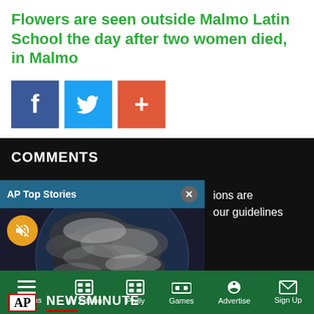Flowers are seen outside Malmo Latin School the day after two women died, in Malmo
[Figure (infographic): Three social sharing buttons: Facebook (dark blue, 'f' icon), Twitter (light blue, bird icon), and Add/Plus (orange-red, '+' icon)]
COMMENTS
[Figure (screenshot): AP Top Stories video widget showing a globe image with AP NEWSMINUTE branding, a mute button, and a close button. Partially overlapping a dark comments section with text 'ions are our guidelines' visible and 'Log in | Sign up' login options.]
Sections   NY Edition   Philly   Games   Advertise   Sign Up